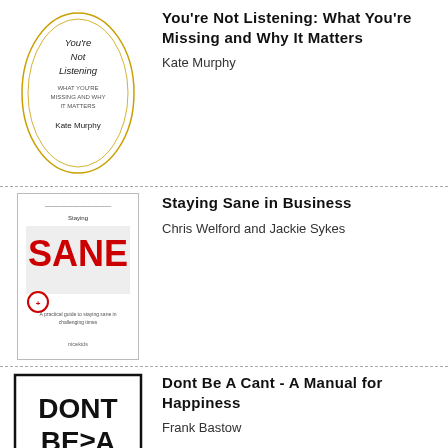[Figure (illustration): Book cover for You're Not Listening by Kate Murphy - circular design with title text]
You're Not Listening: What You're Missing and Why It Matters
Kate Murphy
[Figure (illustration): Book cover for Staying Sane in Business - white cover with SANE in red bold letters]
Staying Sane in Business
Chris Welford and Jackie Sykes
[Figure (illustration): Book cover for Dont Be A Cant - black text on white background with border]
Dont Be A Cant - A Manual for Happiness
Frank Bastow
[Figure (illustration): Book cover for Awful Management - partial view]
Awful Management
Gary Sheard